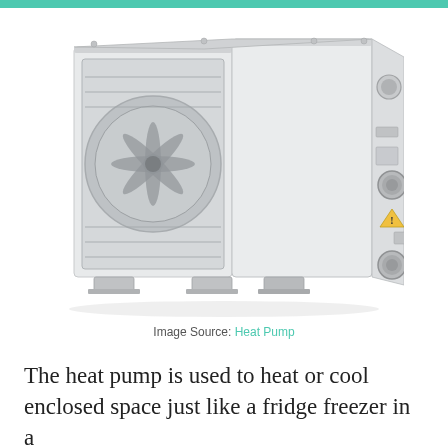[Figure (photo): A white heat pump unit shown in a three-quarter perspective view. The unit has a fan grille on the left side, a plain panel in the center, and pipe connections and gauges on the right side. It sits on metal feet/brackets.]
Image Source: Heat Pump
The heat pump is used to heat or cool enclosed space just like a fridge freezer in a